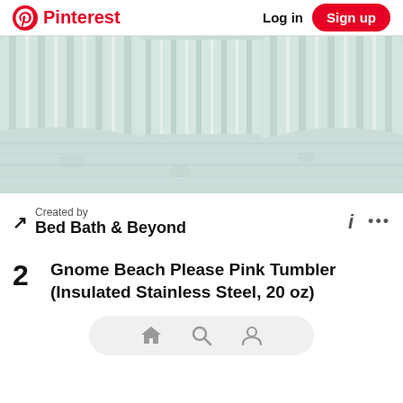Pinterest   Log in   Sign up
[Figure (photo): Close-up photo of a bed with light blue and cream striped pillows and bedding with subtle floral pattern]
Created by
Bed Bath & Beyond
2   Gnome Beach Please Pink Tumbler (Insulated Stainless Steel, 20 oz)